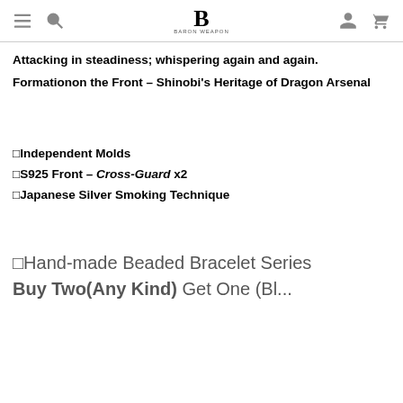BARON WEAPON
Attacking in steadiness; whispering again and again.
Formationon the Front – Shinobi's Heritage of Dragon Arsenal
□Independent Molds
□S925 Front – Cross-Guard x2
□Japanese Silver Smoking Technique
□Hand-made Beaded Bracelet Series Buy Two(Any Kind) Get One (Bl...